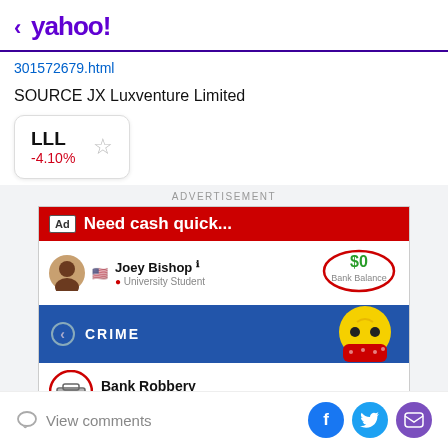< yahoo!
301572679.html
SOURCE JX Luxventure Limited
LLL -4.10%
[Figure (screenshot): Advertisement screenshot showing a mobile game ad with 'Need cash quick...' headline, Joey Bishop profile as University Student with $0 bank balance, CRIME menu with Bank Robbery option highlighted in red circle, and a cartoon emoji character wearing a red bandana.]
View comments